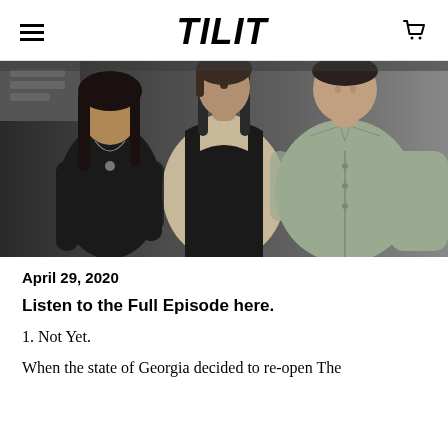TILIT
[Figure (photo): Black and white photo of three people standing together, one wearing a dark chef's apron, another in a black top, and a third in a button-up shirt, appearing to be in a restaurant setting.]
April 29, 2020
Listen to the Full Episode here.
1. Not Yet.
When the state of Georgia decided to re-open The